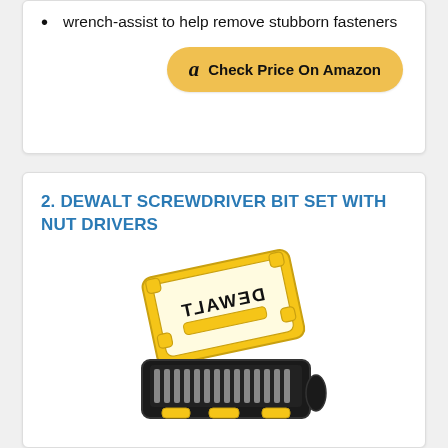wrench-assist to help remove stubborn fasteners
[Figure (other): Check Price On Amazon button with Amazon logo]
2. DEWALT SCREWDRIVER BIT SET WITH NUT DRIVERS
[Figure (photo): DEWALT screwdriver bit set in an open black and yellow case with the DEWALT logo visible on the lid]
The screwdriver bit set comes with